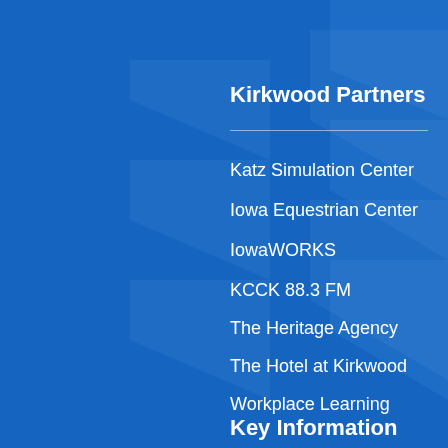Kirkwood Partners
Katz Simulation Center
Iowa Equestrian Center
IowaWORKS
KCCK 88.3 FM
The Heritage Agency
The Hotel at Kirkwood
Workplace Learning
Key Information